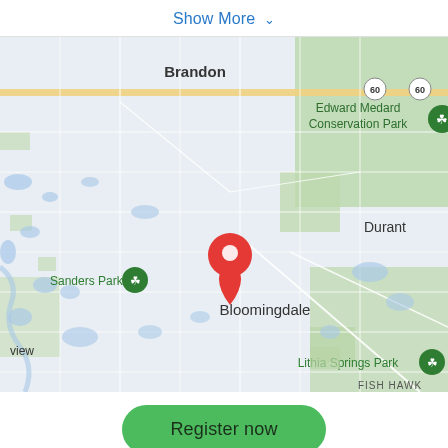Show More ⌄
[Figure (map): Google Maps screenshot showing the Bloomingdale area near Tampa, Florida. Shows Brandon to the north, Edward Medard Conservation Park to the upper right, Durant label on the right, Sanders Park with green tree marker on the left, a red location pin in the center (Bloomingdale area), Lithia Springs Park with green tree marker at the bottom center, and FISH HAWK label at the bottom right. Roads and waterways visible throughout.]
Register now